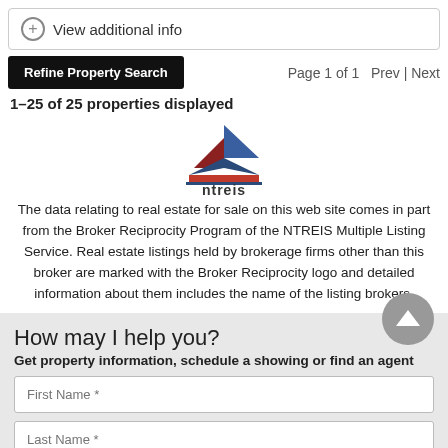View additional info
Refine Property Search    Page 1 of 1    Prev | Next
1–25 of 25 properties displayed
[Figure (logo): NTREIS logo — stylized house icon above the text 'ntreis']
The data relating to real estate for sale on this web site comes in part from the Broker Reciprocity Program of the NTREIS Multiple Listing Service. Real estate listings held by brokerage firms other than this broker are marked with the Broker Reciprocity logo and detailed information about them includes the name of the listing brokers.
How may I help you?
Get property information, schedule a showing or find an agent
First Name *
Last Name *